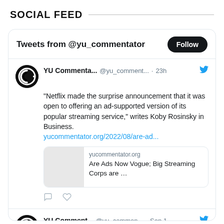SOCIAL FEED
[Figure (screenshot): Twitter/social media widget showing tweets from @yu_commentator account with a Follow button, a tweet about Netflix announcing ad-supported streaming service with a link preview card, and the start of a second tweet. Includes avatar logo, action icons, and bird icon.]